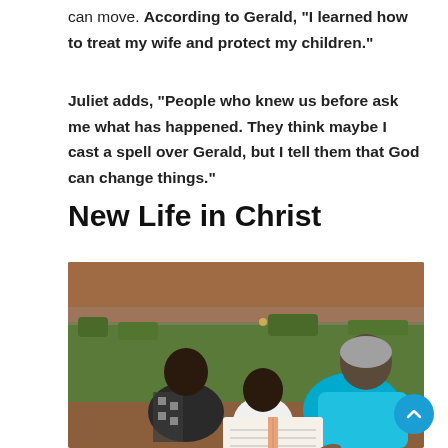can move. According to Gerald, “I learned how to treat my wife and protect my children.”
Juliet adds, “People who knew us before ask me what has happened. They think maybe I cast a spell over Gerald, but I tell them that God can change things.”
New Life in Christ
[Figure (photo): Three people seen from behind sitting on grass, reading an open book together. One person on the right wearing a bright teal/turquoise shirt points at the book. A woman on the left wears a patterned black and white dress. A child sits in the middle wearing a white shirt.]